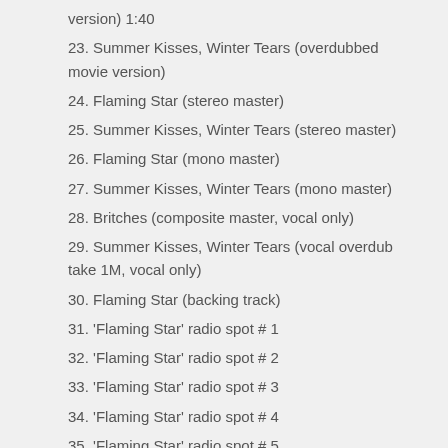version) 1:40
23. Summer Kisses, Winter Tears (overdubbed movie version)
24. Flaming Star (stereo master)
25. Summer Kisses, Winter Tears (stereo master)
26. Flaming Star (mono master)
27. Summer Kisses, Winter Tears (mono master)
28. Britches (composite master, vocal only)
29. Summer Kisses, Winter Tears (vocal overdub take 1M, vocal only)
30. Flaming Star (backing track)
31. 'Flaming Star' radio spot # 1
32. 'Flaming Star' radio spot # 2
33. 'Flaming Star' radio spot # 3
34. 'Flaming Star' radio spot # 4
35. 'Flaming Star' radio spot # 5
36. 'Flaming Star' radio spot # 6
37. 'Flaming Star' radio spot # 7
38. Black Star (acetate recording / composite master)